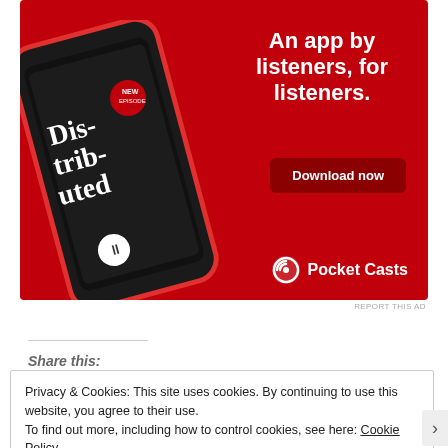[Figure (illustration): Pocket Casts app advertisement on red background showing a smartphone with podcast app open. Text reads 'An app by listeners, for listeners.' with a 'Download now' button and Pocket Casts logo.]
REPORT THIS AD
Share this:
Privacy & Cookies: This site uses cookies. By continuing to use this website, you agree to their use.
To find out more, including how to control cookies, see here: Cookie Policy
Close and accept